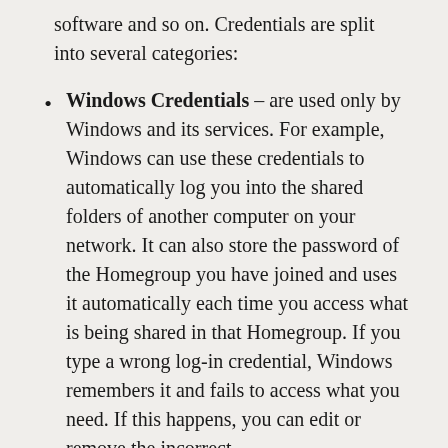software and so on. Credentials are split into several categories:
Windows Credentials – are used only by Windows and its services. For example, Windows can use these credentials to automatically log you into the shared folders of another computer on your network. It can also store the password of the Homegroup you have joined and uses it automatically each time you access what is being shared in that Homegroup. If you type a wrong log-in credential, Windows remembers it and fails to access what you need. If this happens, you can edit or remove the incorrect